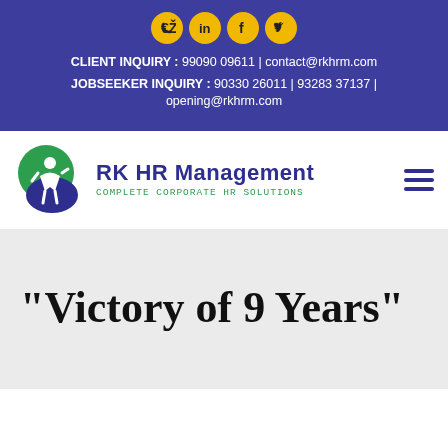[Figure (logo): Social media icons (WhatsApp, LinkedIn, Facebook, Twitter) as yellow circles]
CLIENT INQUIRY : 99090 09611 | contact@rkhrm.com
JOBSEEKER INQUIRY : 90330 26011 | 93283 37137 | opening@rkhrm.com
[Figure (logo): RK HR Management logo with green and blue circular icon of a person, company name in blue and tagline COMPLETE CORPORATE HR SOLUTIONS in green]
“Victory of 9 Years”